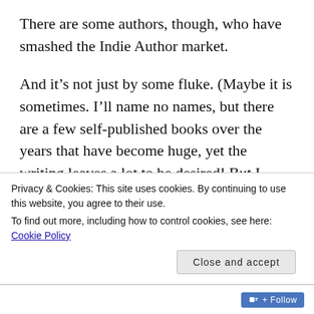There are some authors, though, who have smashed the Indie Author market.
And it’s not just by some fluke. (Maybe it is sometimes. I’ll name no names, but there are a few self-published books over the years that have become huge, yet the writing leaves a lot to be desired! But I digress...)
Those writers spend time on their books. They don’t just churn out reams of text, give it a quick [continues below fold]
Privacy & Cookies: This site uses cookies. By continuing to use this website, you agree to their use.
To find out more, including how to control cookies, see here: Cookie Policy
Close and accept